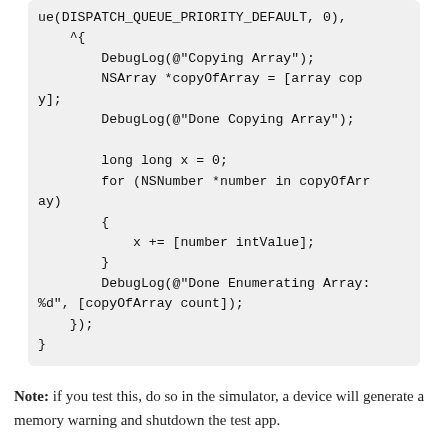[Figure (other): Code block showing Objective-C code snippet with dispatch queue, block copying an NSArray, enumerating it, and logging results.]
Note: if you test this, do so in the simulator, a device will generate a memory warning and shutdown the test app.
The idea here is that by touching button1, we create